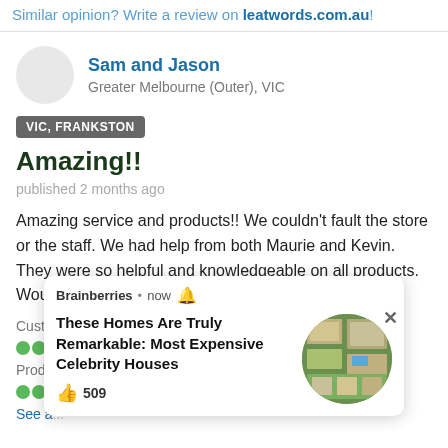Similar opinion? Write a review on leatwords.com.au!
Sam and Jason
Greater Melbourne (Outer), VIC
VIC, FRANKSTON
Amazing!!
published 2 months ago
Amazing service and products!! We couldn't fault the store or the staff. We had help from both Maurie and Kevin. They were so helpful and knowledgeable on all products. Would not go anywhere else now!
[Figure (screenshot): Ad overlay from Brainberries: 'These Homes Are Truly Remarkable: Most Expensive Celebrity Houses' with 509 likes, aerial photo of houses, and a close button]